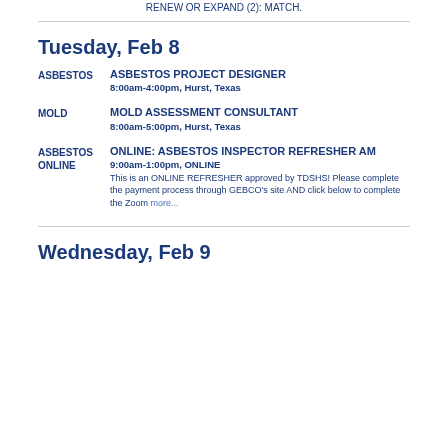RENEW OR EXPAND (2): MATCH.
Tuesday, Feb 8
ASBESTOS | ASBESTOS PROJECT DESIGNER | 8:00am-4:00pm, Hurst, Texas
MOLD | MOLD ASSESSMENT CONSULTANT | 8:00am-5:00pm, Hurst, Texas
ASBESTOS ONLINE | ONLINE: ASBESTOS INSPECTOR REFRESHER AM | 9:00am-1:00pm, ONLINE | This is an ONLINE REFRESHER approved by TDSHS! Please complete the payment process through GEBCO's site AND click below to complete the Zoom more...
Wednesday, Feb 9